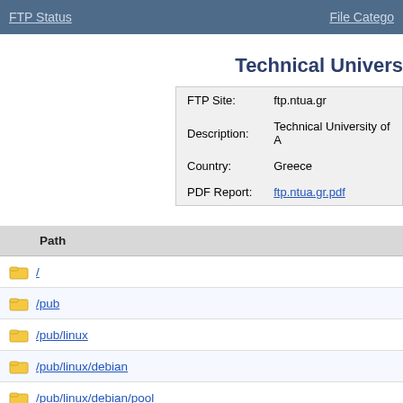FTP Status   File Categories
Technical University of A...
| Field | Value |
| --- | --- |
| FTP Site: | ftp.ntua.gr |
| Description: | Technical University of A |
| Country: | Greece |
| PDF Report: | ftp.ntua.gr.pdf |
| Path |
| --- |
| / |
| /pub |
| /pub/linux |
| /pub/linux/debian |
| /pub/linux/debian/pool |
| /pub/linux/debian/pool/main |
| /pub/linux/fedora |